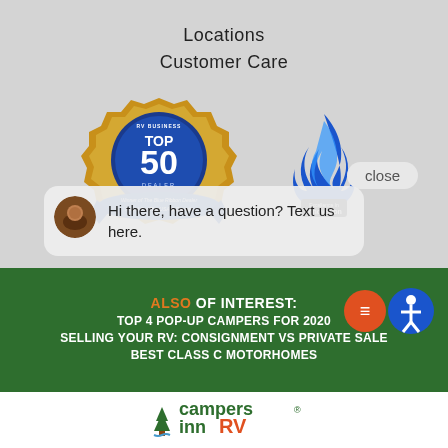Locations
Customer Care
[Figure (logo): RV Business Top 50 Dealer - Winner of The Blue Ribbon Dealer Award For The USA & Canada badge]
[Figure (logo): Excellence in Innovation award - blue flame trophy]
close
[Figure (screenshot): Chat bubble with avatar: Hi there, have a question? Text us here.]
ALSO OF INTEREST:
TOP 4 POP-UP CAMPERS FOR 2020
SELLING YOUR RV: CONSIGNMENT VS PRIVATE SALE
BEST CLASS C MOTORHOMES
[Figure (logo): Campers Inn RV logo]